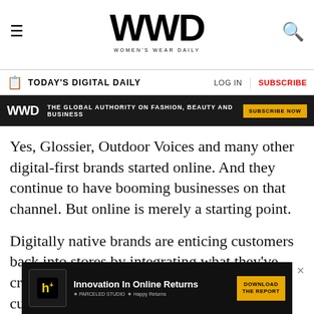WWD — WOMEN'S WEAR DAILY
TODAY'S DIGITAL DAILY | LOG IN | SUBSCRIBE
WWD — THE GLOBAL AUTHORITY ON FASHION, BEAUTY AND BUSINESS — SUBSCRIBE NOW
Yes, Glossier, Outdoor Voices and many other digital-first brands started online. And they continue to have booming businesses on that channel. But online is merely a starting point.
Digitally native brands are enticing customers back into stores by integrating what they've created online into the brick-and-mortar customer experience. How? With technology, but not just for the sake of technology. Not a little here or a
[Figure (other): Advertisement banner for 'Innovation In Online Returns' featuring Happy Returns branding with a download report button]